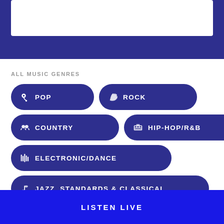[Figure (screenshot): White card UI element on dark blue background]
ALL MUSIC GENRES
POP
ROCK
COUNTRY
HIP-HOP/R&B
ELECTRONIC/DANCE
JAZZ, STANDARDS & CLASSICAL
CHRISTIAN
LATINO
LISTEN LIVE